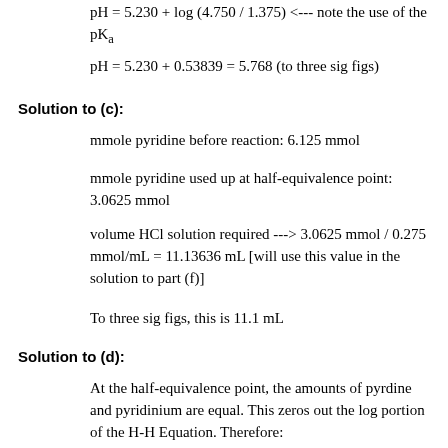pH = 5.230 + log (4.750 / 1.375) <--- note the use of the pKa
pH = 5.230 + 0.53839 = 5.768 (to three sig figs)
Solution to (c):
mmole pyridine before reaction: 6.125 mmol
mmole pyridine used up at half-equivalence point: 3.0625 mmol
volume HCl solution required ---> 3.0625 mmol / 0.275 mmol/mL = 11.13636 mL [will use this value in the solution to part (f)]
To three sig figs, this is 11.1 mL
Solution to (d):
At the half-equivalence point, the amounts of pyrdine and pyridinium are equal. This zeros out the log portion of the H-H Equation. Therefore: